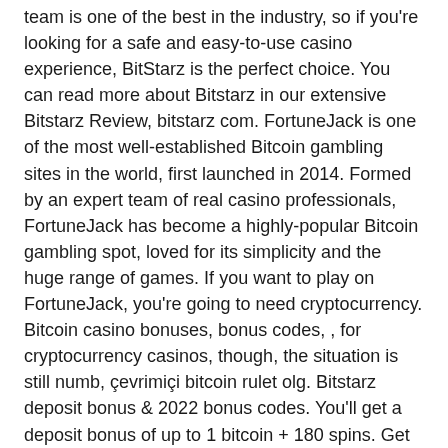team is one of the best in the industry, so if you're looking for a safe and easy-to-use casino experience, BitStarz is the perfect choice. You can read more about Bitstarz in our extensive Bitstarz Review, bitstarz com. FortuneJack is one of the most well-established Bitcoin gambling sites in the world, first launched in 2014. Formed by an expert team of real casino professionals, FortuneJack has become a highly-popular Bitcoin gambling spot, loved for its simplicity and the huge range of games. If you want to play on FortuneJack, you're going to need cryptocurrency.
Bitcoin casino bonuses, bonus codes, , for cryptocurrency casinos, though, the situation is still numb, çevrimiçi bitcoin rulet olg. Bitstarz deposit bonus &amp; 2022 bonus codes. You'll get a deposit bonus of up to 1 bitcoin + 180 spins. Get 100% free promo code for bitstarz casino ⚡ no expire coupons last updated april 2022 ✔ no deposit codes